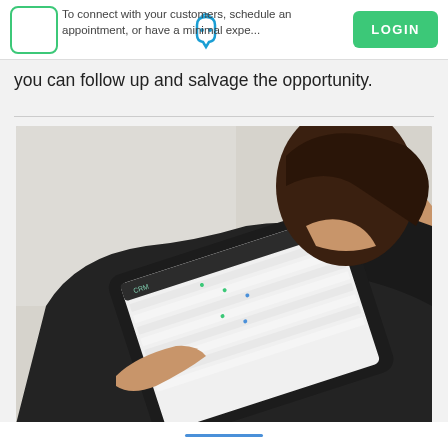To connect with your customers, schedule an appointment, or have a minimal experience — you can follow up and salvage the opportunity.
you can follow up and salvage the opportunity.
[Figure (photo): Woman in business attire looking down at a tablet device displaying a CRM or scheduling application interface with a list/calendar view.]